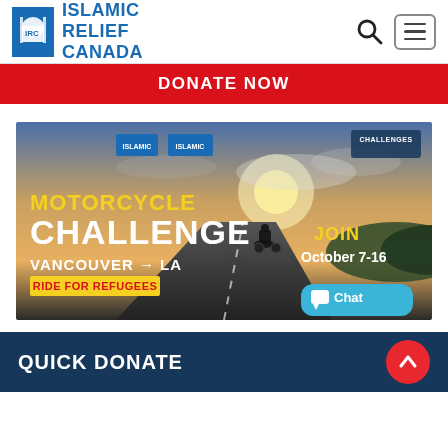ISLAMIC RELIEF CANADA
DONATE NOW
[Figure (photo): Motorcycle Challenge banner: A motorcyclist riding on a highway at sunset. Text reads: MOTORCYCLE CHALLENGE, VANCOUVER → LA, RIDE FOR REFUGEES, JOIN October 7-16. Logos of Islamic Relief USA, Islamic Relief Canada, and Challenges visible.]
QUICK DONATE